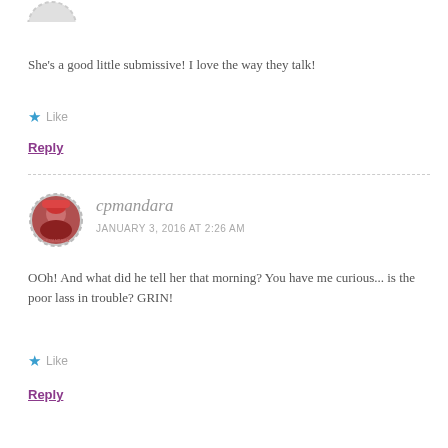[Figure (illustration): Partial circular avatar at top of page, gray dashed border, cropped]
She's a good little submissive! I love the way they talk!
Like
Reply
[Figure (photo): Circular avatar with dashed border showing user cpmandara with red/dark photo]
cpmandara
JANUARY 3, 2016 AT 2:26 AM
OOh! And what did he tell her that morning? You have me curious... is the poor lass in trouble? GRIN!
Like
Reply